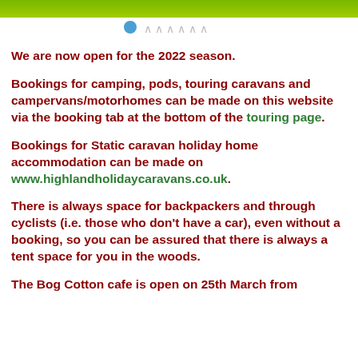[Figure (illustration): Green header banner with white area below, a blue dot and decorative wave/chevron marks]
We are now open for the 2022 season.
Bookings for camping, pods, touring caravans and campervans/motorhomes can be made on this website via the booking tab at the bottom of the touring page.
Bookings for Static caravan holiday home accommodation can be made on www.highlandholidaycaravans.co.uk.
There is always space for backpackers and through cyclists (i.e. those who don't have a car), even without a booking, so you can be assured that there is always a tent space for you in the woods.
The Bog Cotton cafe is open on 25th March from